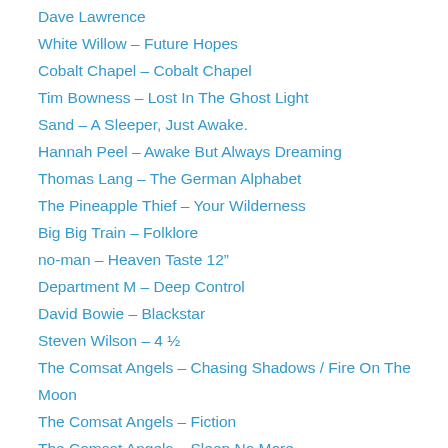Dave Lawrence
White Willow – Future Hopes
Cobalt Chapel – Cobalt Chapel
Tim Bowness – Lost In The Ghost Light
Sand – A Sleeper, Just Awake.
Hannah Peel – Awake But Always Dreaming
Thomas Lang – The German Alphabet
The Pineapple Thief – Your Wilderness
Big Big Train – Folklore
no-man – Heaven Taste 12”
Department M – Deep Control
David Bowie – Blackstar
Steven Wilson – 4 ½
The Comsat Angels – Chasing Shadows / Fire On The Moon
The Comsat Angels – Fiction
The Comsat Angels – Sleep No More
The Comsat Angels – Waiting For A Miracle
Jeff Lynne’s ELO – Alone In The Universe
Hugh Cornwell – The Fall and Rise Of Hugh Cornwell
Japan – A Foreign Place – The Biography (1974-1984)